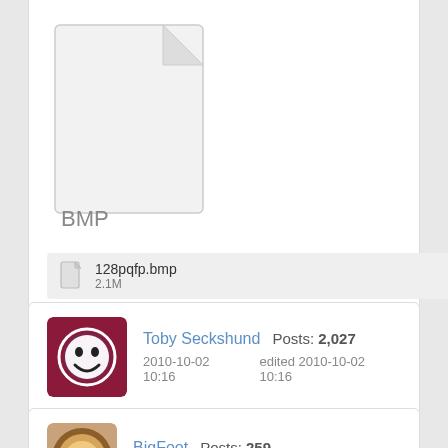[Figure (screenshot): BMP file icon — blank document with folded top-right corner, labeled 'BMP' at bottom]
128pqfp.bmp
2.1M
Toby Seckshund   Posts: 2,027
2010-10-02 10:16   edited 2010-10-02 10:16
The Z180 came in a 64 DIP with a non 0.1" pitch. The bases cost more than the chip (via RS)
BigFoot   Posts: 259
2010-10-02 10:37   edited 2010-10-02 10:37